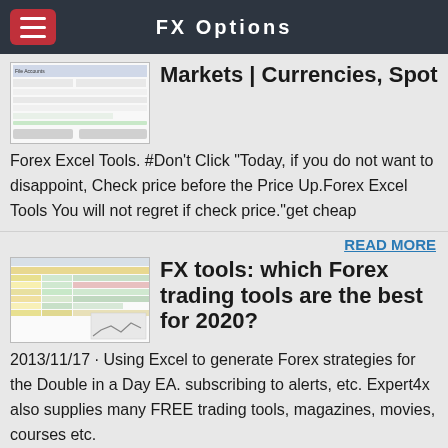FX Options
Markets | Currencies, Spot
Forex Excel Tools. #Don't Click "Today, if you do not want to disappoint, Check price before the Price Up.Forex Excel Tools You will not regret if check price."get cheap
READ MORE
FX tools: which Forex trading tools are the best for 2020?
2013/11/17 · Using Excel to generate Forex strategies for the Double in a Day EA. subscribing to alerts, etc. Expert4x also supplies many FREE trading tools, magazines, movies, courses etc.
READ MORE